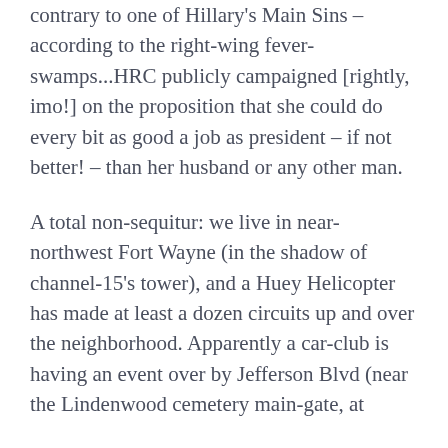contrary to one of Hillary's Main Sins – according to the right-wing fever-swamps...HRC publicly campaigned [rightly, imo!] on the proposition that she could do every bit as good a job as president – if not better! – than her husband or any other man.
A total non-sequitur: we live in near-northwest Fort Wayne (in the shadow of channel-15's tower), and a Huey Helicopter has made at least a dozen circuits up and over the neighborhood. Apparently a car-club is having an event over by Jefferson Blvd (near the Lindenwood cemetery main-gate, at